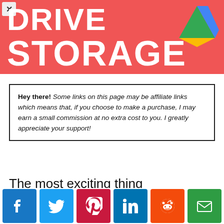[Figure (infographic): Red banner with white bold text 'DRIVE STORAGE' and Google Drive logo triangle icon in top right]
Hey there! Some links on this page may be affiliate links which means that, if you choose to make a purchase, I may earn a small commission at no extra cost to you. I greatly appreciate your support!
The most exciting thing that 2020 has
[Figure (infographic): Social share buttons bar: Facebook (blue), Twitter (cyan), Pinterest (dark red), LinkedIn (blue), Reddit (orange), Email (green)]